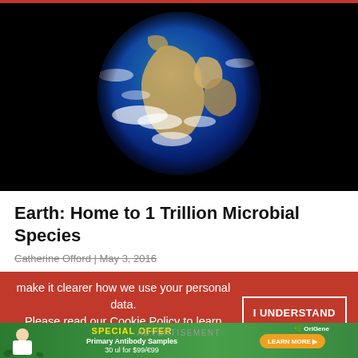[Figure (photo): Photograph of Earth from space against a black background, showing Africa, the Middle East, and parts of Asia and Europe, with blue oceans and white cloud formations.]
Earth: Home to 1 Trillion Microbial Species
Catherine Offord | May 3, 2016
make it clearer how we use your personal data.
Please read our Cookie Policy to learn how we use cookies to provide you
I UNDERSTAND
[Figure (infographic): OriGene advertisement banner: SPECIAL OFFER — Primary Antibody Samples 30 ul for $99/€99, with LEARN MORE button and OriGene logo, green and orange background with scientist figure.]
ADVERTISEMENT